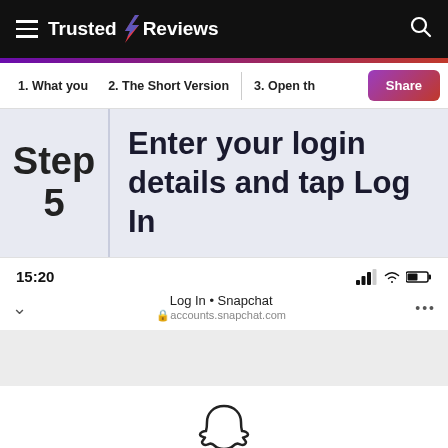Trusted Reviews
1. What you
2. The Short Version
3. Open th
Step 5  Enter your login details and tap Log In
[Figure (screenshot): A mobile browser screenshot showing the Snapchat login page at accounts.snapchat.com. The status bar shows 15:20, signal bars, wifi and battery icons. The browser bar shows 'Log In • Snapchat' and the URL 'accounts.snapchat.com'. Below is the Snapchat ghost logo and partial text 'Log in to Snapchat'.]